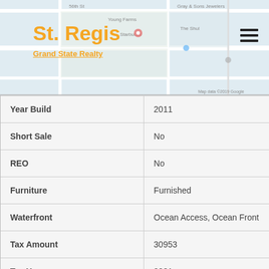[Figure (map): Google Maps background showing street map with location markers near 56th St area]
St. Regis
Grand State Realty
| Field | Value |
| --- | --- |
| Year Build | 2011 |
| Short Sale | No |
| REO | No |
| Furniture | Furnished |
| Waterfront | Ocean Access, Ocean Front |
| Tax Amount | 30953 |
| Tax Year | 2021 |
| Restrictions | Ok To Lease |
| Amenities | Bar, Bike Storage, Business Cent |